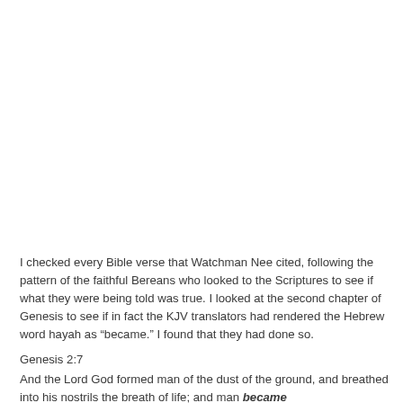I checked every Bible verse that Watchman Nee cited, following the pattern of the faithful Bereans who looked to the Scriptures to see if what they were being told was true. I looked at the second chapter of Genesis to see if in fact the KJV translators had rendered the Hebrew word hayah as “became.” I found that they had done so.
Genesis 2:7
And the Lord God formed man of the dust of the ground, and breathed into his nostrils the breath of life; and man became